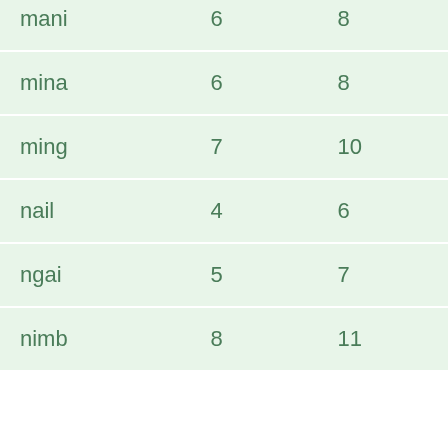| mani | 6 | 8 |
| mina | 6 | 8 |
| ming | 7 | 10 |
| nail | 4 | 6 |
| ngai | 5 | 7 |
| nimb | 8 | 11 |